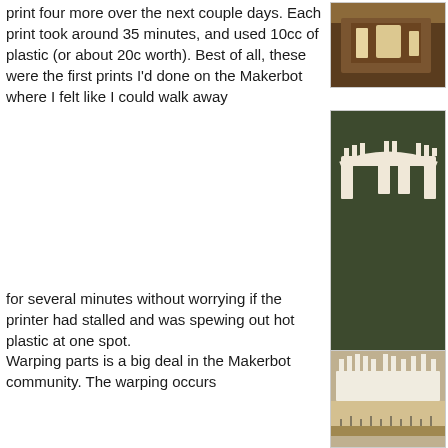print four more over the next couple days. Each print took around 35 minutes, and used 10cc of plastic (or about 20c worth). Best of all, these were the first prints I'd done on the Makerbot where I felt like I could walk away for several minutes without worrying if the printer had stalled and was spewing out hot plastic at one spot.
[Figure (photo): Small photo of a 3D printed object on a wooden surface]
[Figure (photo): Photo of white 3D printed arch/gate pieces on a dark green cutting mat]
Warping parts is a big deal in the Makerbot community. The warping occurs
[Figure (photo): Photo of a white 3D printed crenellated piece next to a ruler, showing warping]